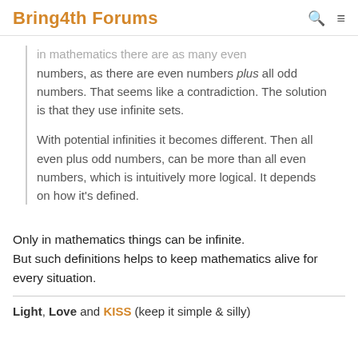Bring4th Forums
numbers, as there are even numbers plus all odd numbers. That seems like a contradiction. The solution is that they use infinite sets.

With potential infinities it becomes different. Then all even plus odd numbers, can be more than all even numbers, which is intuitively more logical. It depends on how it's defined.
Only in mathematics things can be infinite. But such definitions helps to keep mathematics alive for every situation.
Light, Love and KISS (keep it simple & silly)